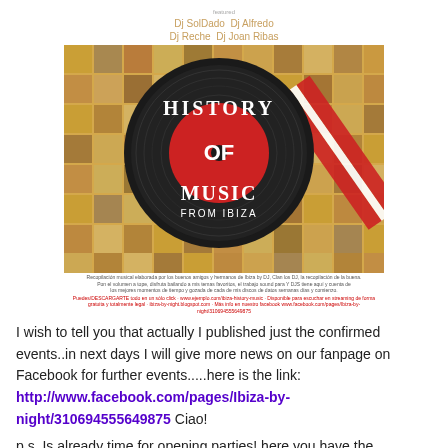[Figure (illustration): Album/event poster for 'History of Music from Ibiza' featuring a vinyl record on a mosaic background. Text on poster includes DJ names: Dj SolDado, Dj Alfredo, Dj Reche, Dj Joan Ribas. Small descriptive text and red URL text at bottom of poster.]
I wish to tell you that actually I published just the confirmed events..in next days I will give more news on our fanpage on Facebook for further events.....here is the link: http://www.facebook.com/pages/Ibiza-by-night/310694555649875 Ciao!
p.s. Is already time for opening parties! here you have the confirmed line -up for the opening party of Space Ibiza, the 27th of may 2012!